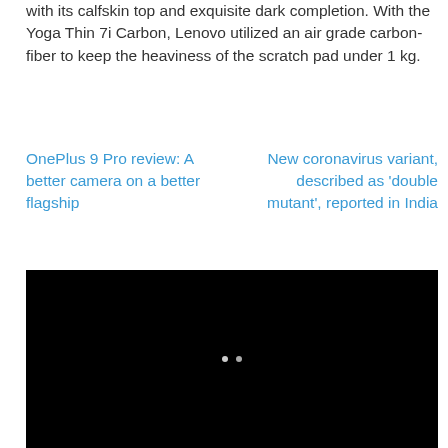with its calfskin top and exquisite dark completion. With the Yoga Thin 7i Carbon, Lenovo utilized an air grade carbon-fiber to keep the heaviness of the scratch pad under 1 kg.
OnePlus 9 Pro review: A better camera on a better flagship
New coronavirus variant, described as 'double mutant', reported in India
[Figure (photo): Black image/video player with two navigation dots in the center]